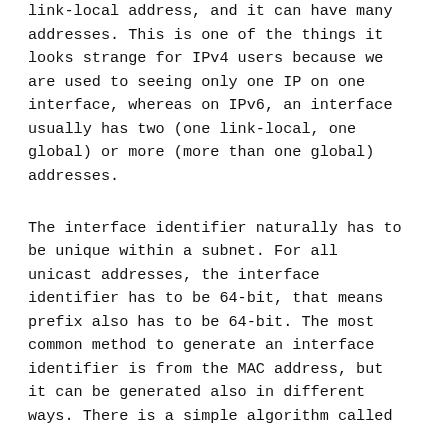link-local address, and it can have many addresses. This is one of the things it looks strange for IPv4 users because we are used to seeing only one IP on one interface, whereas on IPv6, an interface usually has two (one link-local, one global) or more (more than one global) addresses.
The interface identifier naturally has to be unique within a subnet. For all unicast addresses, the interface identifier has to be 64-bit, that means prefix also has to be 64-bit. The most common method to generate an interface identifier is from the MAC address, but it can be generated also in different ways. There is a simple algorithm called